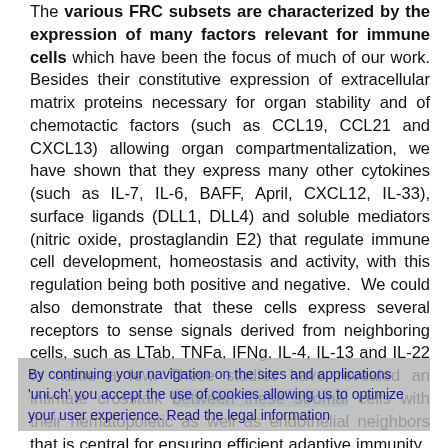The various FRC subsets are characterized by the expression of many factors relevant for immune cells which have been the focus of much of our work. Besides their constitutive expression of extracellular matrix proteins necessary for organ stability and of chemotactic factors (such as CCL19, CCL21 and CXCL13) allowing organ compartmentalization, we have shown that they express many other cytokines (such as IL-7, IL-6, BAFF, April, CXCL12, IL-33), surface ligands (DLL1, DLL4) and soluble mediators (nitric oxide, prostaglandin E2) that regulate immune cell development, homeostasis and activity, with this regulation being both positive and negative. We could also demonstrate that these cells express several receptors to sense signals derived from neighboring cells, such as LTab, TNFa, IFNg, IL-4, IL-13 and IL-22 to name a few. These studies have revealed an intimate crosstalk between these stromal cells with their hematopoietic as well as endothelial neighbors that is central for ensuring efficient adaptive immunity. In
By continuing your navigation on the sites and applications 'uni.ch' you accept the use of cookies allowing us to optimize your user experience. Read the legal information